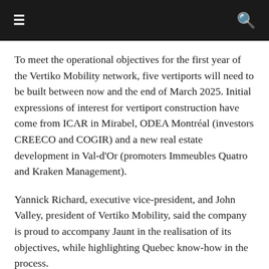≡  🔍
To meet the operational objectives for the first year of the Vertiko Mobility network, five vertiports will need to be built between now and the end of March 2025. Initial expressions of interest for vertiport construction have come from ICAR in Mirabel, ODEA Montréal (investors CREECO and COGIR) and a new real estate development in Val-d'Or (promoters Immeubles Quatro and Kraken Management).
Yannick Richard, executive vice-president, and John Valley, president of Vertiko Mobility, said the company is proud to accompany Jaunt in the realisation of its objectives, while highlighting Quebec know-how in the process.